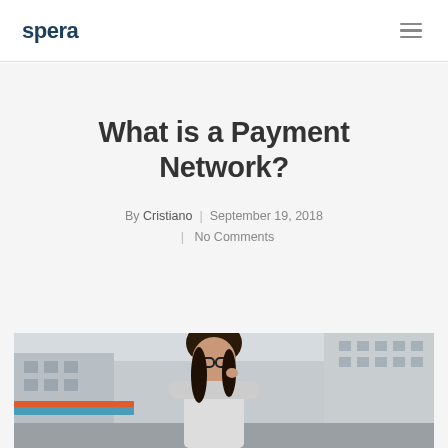spera
What is a Payment Network?
By Cristiano | September 19, 2018 | No Comments
[Figure (photo): Photo of a woman with glasses on a city street, partially cropped at the bottom of the page]